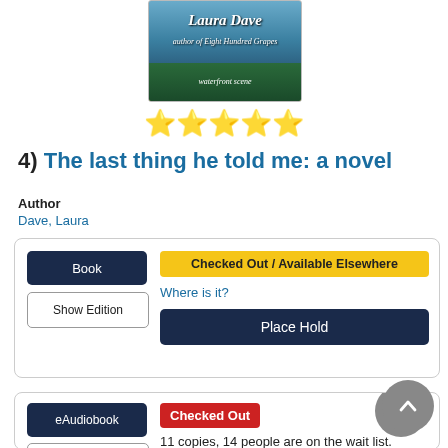[Figure (photo): Book cover for 'The Last Thing He Told Me' by Laura Dave, showing waterfront buildings, with author name in script font]
[Figure (other): Five yellow star rating icons]
4) The last thing he told me: a novel
Author
Dave, Laura
Book | Checked Out / Available Elsewhere | Where is it? | Place Hold
eAudiobook | Checked Out | 11 copies, 14 people are on the wait list. | Place Hold OverDrive/Li... | Preview Part 1